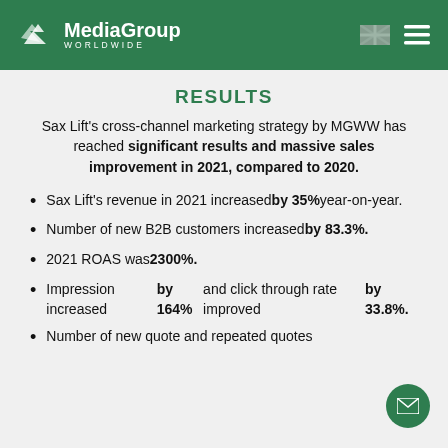MediaGroup WORLDWIDE
RESULTS
Sax Lift's cross-channel marketing strategy by MGWW has reached significant results and massive sales improvement in 2021, compared to 2020.
Sax Lift's revenue in 2021 increased by 35% year-on-year.
Number of new B2B customers increased by 83.3%.
2021 ROAS was 2300%.
Impression increased by 164% and click through rate improved by 33.8%.
Number of new quote and repeated quotes ...